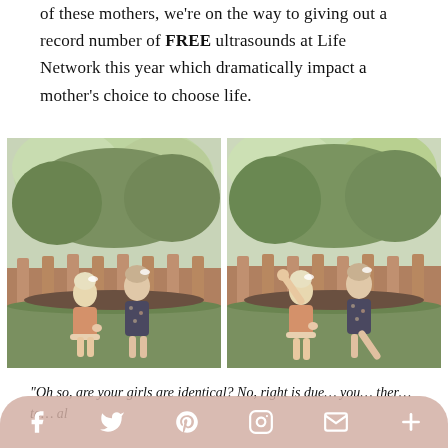of these mothers, we're on the way to giving out a record number of FREE ultrasounds at Life Network this year which dramatically impact a mother's choice to choose life.
[Figure (photo): Two young girls holding hands in a garden with flowering bushes and a wooden fence behind them. Left photo: girls facing each other. Right photo: girls smiling, one with arm raised.]
"Oh so, are your girls are identical? No, right is due… you… ther… to… al
[Figure (other): Social sharing bar with icons: Facebook, Twitter, Pinterest, Instagram, Email, Plus]